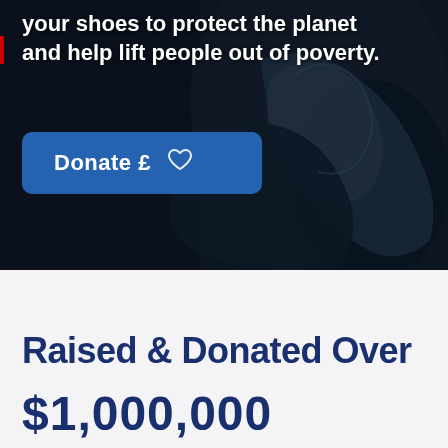[Figure (photo): Dark background hero image showing a person's hands/figure in low light, with a dark navy/black tone suggesting a formal or nighttime setting.]
your shoes to protect the planet and help lift people out of poverty.
Donate £ ♡
Raised & Donated Over
$1,000,000